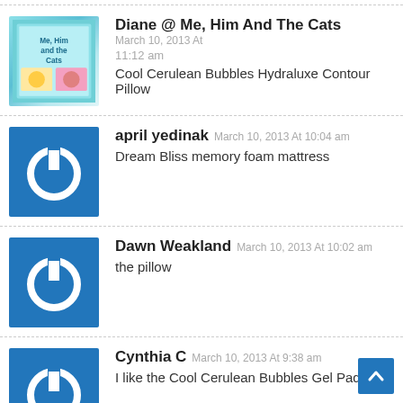Diane @ Me, Him And The Cats — March 10, 2013 At 11:12 am — Cool Cerulean Bubbles Hydraluxe Contour Pillow
april yedinak — March 10, 2013 At 10:04 am — Dream Bliss memory foam mattress
Dawn Weakland — March 10, 2013 At 10:02 am — the pillow
Cynthia C — March 10, 2013 At 9:38 am — I like the Cool Cerulean Bubbles Gel Pad
Tari Lawson — March 10, 2013 At 8:19 am